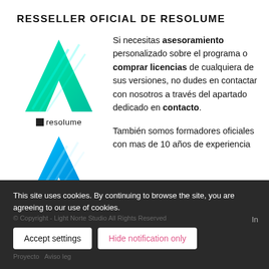RESSELLER OFICIAL DE RESOLUME
[Figure (logo): Resolume logo: large green/teal letter A with diagonal stripes, with 'resolume' text and small black square below it, followed by a large cyan/blue letter A logo]
Si necesitas asesoramiento personalizado sobre el programa o comprar licencias de cualquiera de sus versiones, no dudes en contactar con nosotros a través del apartado dedicado en contacto.

También somos formadores oficiales con mas de 10 años de experiencia
This site uses cookies. By continuing to browse the site, you are agreeing to our use of cookies.
© Copyright - Light Norte Studio All Rights Reserved
Proyecto
Aviso leg
In